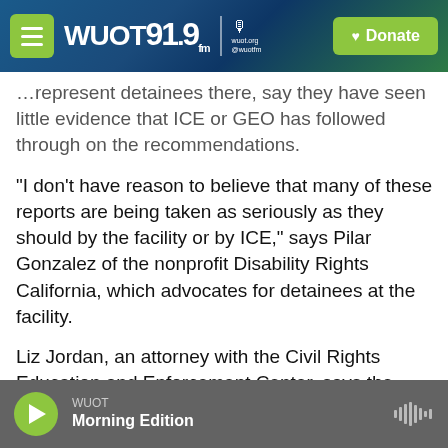WUOT 91.9 FM | wuot.org @wuotfm | Donate
represent detainees there, say they have seen little evidence that ICE or GEO has followed through on the recommendations.
"I don't have reason to believe that many of these reports are being taken as seriously as they should by the facility or by ICE," says Pilar Gonzalez of the nonprofit Disability Rights California, which advocates for detainees at the facility.
Liz Jordan, an attorney with the Civil Rights Education and Enforcement Center, says the issues identified in the report have persisted.
WUOT | Morning Edition